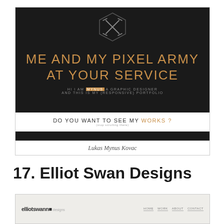[Figure (screenshot): Screenshot of a dark portfolio website with large orange text reading 'ME AND MY PIXEL ARMY AT YOUR SERVICE' with a hexagonal pencil icon, a white bar with 'DO YOU WANT TO SEE MY WORKS?' and a dark footer bar. Caption below reads 'Lukas Mynus Kovac'.]
Lukas Mynus Kovac
17. Elliot Swan Designs
[Figure (screenshot): Screenshot of the Elliot Swan Designs website showing a light gray header with the 'elliotswandesigns' logo on the left and navigation links on the right.]